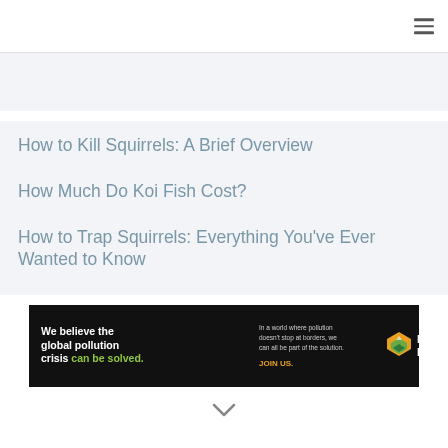≡
[Figure (other): Gray advertisement banner placeholder area at top]
How to Kill Squirrels: A Brief Overview
How Much Do Koi Fish Cost?
How to Trap Squirrels: Everything You've Ever Wanted to Know
[Figure (other): Pure Earth advertisement banner: 'We believe the global pollution crisis can be solved.' with tagline 'In a world where pollution doesn't stop at borders, we can all be part of the solution. JOIN US.' and Pure Earth logo]